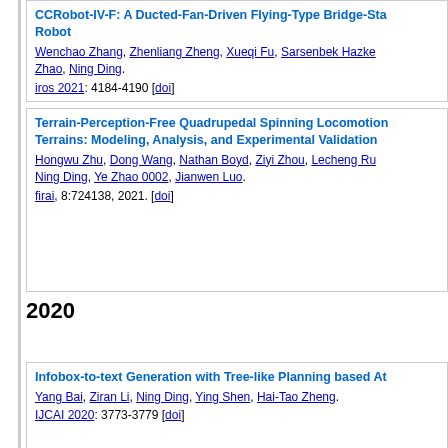CCRobot-IV-F: A Ducted-Fan-Driven Flying-Type Bridge-Stay-Cable Inspection Robot. Wenchao Zhang, Zhenliang Zheng, Xueqi Fu, Sarsenbek Hazkе Zhao, Ning Ding. iros 2021: 4184-4190 [doi]
Terrain-Perception-Free Quadrupedal Spinning Locomotion Terrains: Modeling, Analysis, and Experimental Validation. Hongwu Zhu, Dong Wang, Nathan Boyd, Ziyi Zhou, Lecheng Ru, Ning Ding, Ye Zhao 0002, Jianwen Luo. firai, 8:724138, 2021. [doi]
2020
Infobox-to-text Generation with Tree-like Planning based At. Yang Bai, Ziran Li, Ning Ding, Ying Shen, Hai-Tao Zheng. IJCAI 2020: 3773-3779 [doi]